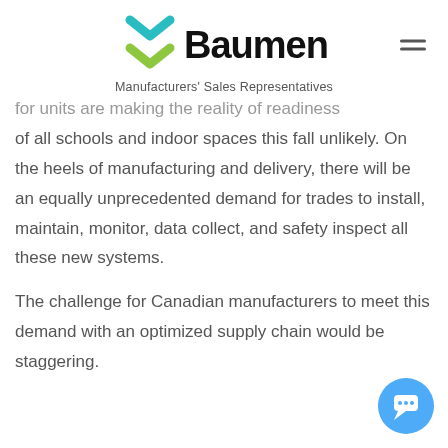[Figure (logo): Baumen logo with teal and green arrow-like symbol and the text 'Baumen' in bold black, with tagline 'Manufacturers' Sales Representatives']
for units are making the reality of readiness of all schools and indoor spaces this fall unlikely. On the heels of manufacturing and delivery, there will be an equally unprecedented demand for trades to install, maintain, monitor, data collect, and safety inspect all these new systems.
The challenge for Canadian manufacturers to meet this demand with an optimized supply chain would be staggering.